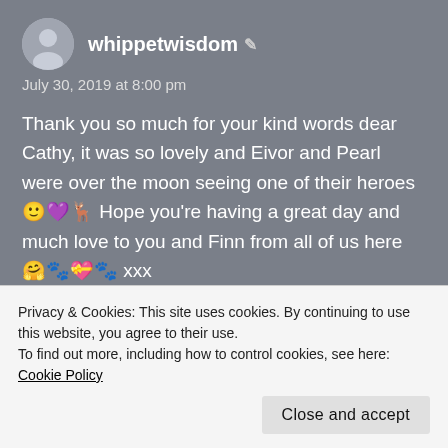whippetwisdom
July 30, 2019 at 8:00 pm
Thank you so much for your kind words dear Cathy, it was so lovely and Eivor and Pearl were over the moon seeing one of their heroes 🙂💜🦌 Hope you're having a great day and much love to you and Finn from all of us here 🤗🐾💝🐾 xxx
Privacy & Cookies: This site uses cookies. By continuing to use this website, you agree to their use.
To find out more, including how to control cookies, see here: Cookie Policy
Close and accept